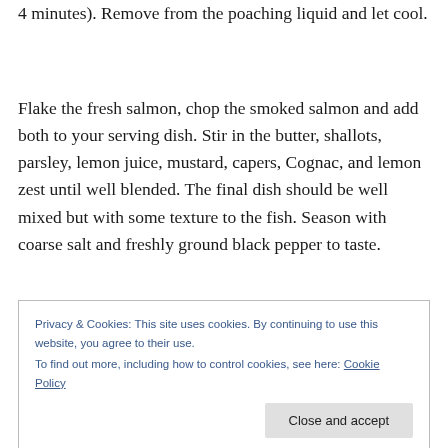4 minutes).  Remove from the poaching liquid and let cool.
Flake the fresh salmon, chop the smoked salmon and add both to your serving dish.  Stir in the butter, shallots, parsley, lemon juice, mustard, capers, Cognac, and lemon zest until well blended.  The final dish should be well mixed but with some texture to the fish.  Season with coarse salt and freshly ground black pepper to taste.
about 2 cups.  Recipe can easily be doubled.